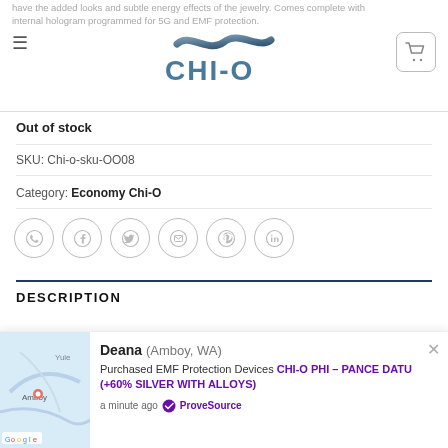CHI-O logo header with hamburger menu and cart button
have the added looks and subtle energy effects of the jewelry. Comes complete with internal hologram programmed for 5G and EMF protection.
Out of stock
SKU: Chi-o-sku-OO08
Category: Economy Chi-O
[Figure (infographic): Row of 6 social sharing icons: WhatsApp, Facebook, Twitter, Email, Pinterest, LinkedIn — circular outline buttons]
DESCRIPTION
Deana (Amboy, WA) Purchased EMF Protection Devices CHI-O PHI – PANCE DATU (+60% SILVER WITH ALLOYS) a minute ago ProveSource